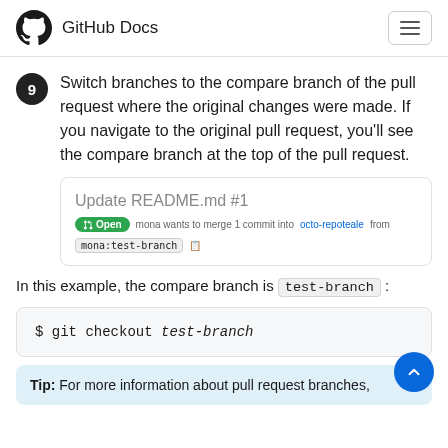GitHub Docs
9. Switch branches to the compare branch of the pull request where the original changes were made. If you navigate to the original pull request, you'll see the compare branch at the top of the pull request.
[Figure (screenshot): Screenshot of a GitHub pull request header showing 'Update README.md #1' with an Open badge, mona wants to merge 1 commit into octo-repoteale from mona:test-branch]
In this example, the compare branch is test-branch:
$ git checkout test-branch
Tip: For more information about pull request branches,